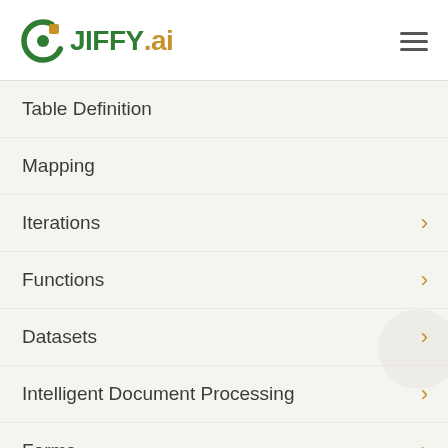[Figure (logo): JIFFY.ai logo with circular green icon on the left and hamburger menu icon on the right]
Table Definition
Mapping
Iterations
Functions
Datasets
Intelligent Document Processing
Forms
Filesets